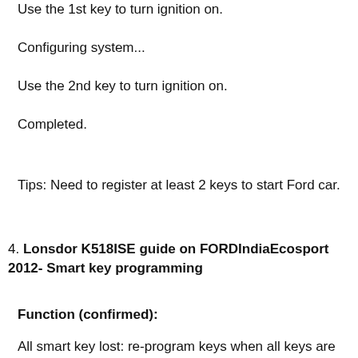Use the 1st key to turn ignition on.
Configuring system...
Use the 2nd key to turn ignition on.
Completed.
Tips: Need to register at least 2 keys to start Ford car.
4. Lonsdor K518ISE guide on FORDIndiaEcosport 2012- Smart key programming
Function (confirmed):
All smart key lost: re-program keys when all keys are lost